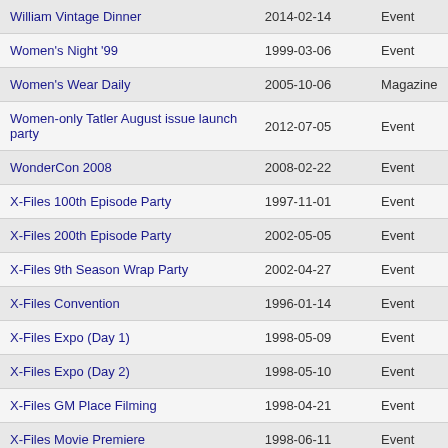| William Vintage Dinner | 2014-02-14 | Event |
| Women's Night '99 | 1999-03-06 | Event |
| Women's Wear Daily | 2005-10-06 | Magazine |
| Women-only Tatler August issue launch party | 2012-07-05 | Event |
| WonderCon 2008 | 2008-02-22 | Event |
| X-Files 100th Episode Party | 1997-11-01 | Event |
| X-Files 200th Episode Party | 2002-05-05 | Event |
| X-Files 9th Season Wrap Party | 2002-04-27 | Event |
| X-Files Convention | 1996-01-14 | Event |
| X-Files Expo (Day 1) | 1998-05-09 | Event |
| X-Files Expo (Day 2) | 1998-05-10 | Event |
| X-Files GM Place Filming | 1998-04-21 | Event |
| X-Files Movie Premiere | 1998-06-11 | Event |
| XF2 Promo | 2008-07-25 | Magazine |
| Yahoo! Magazine | 1998-07-00 | Magazine |